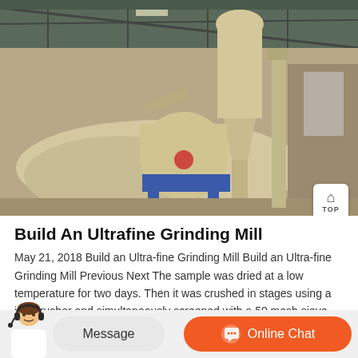[Figure (photo): Industrial ultrafine grinding mill machine inside a large warehouse/factory building. The machine is cream/beige colored with a cyclone separator at the top, sitting on blue supports. Large piles of raw material (light colored powder/material) are visible in the background. The interior has a metal roof structure.]
Build An Ultrafine Grinding Mill
May 21, 2018 Build an Ultra-fine Grinding Mill Build an Ultra-fine Grinding Mill Previous Next The sample was dried at a low temperature for two days. Then it was crushed in stages using a jaw crusher and simultaneously screened with a 50 mesh sieve. The